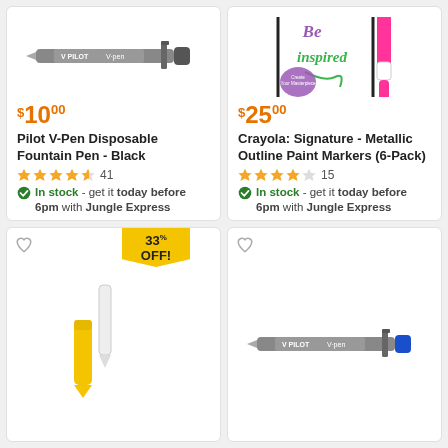[Figure (photo): Pilot V-Pen Disposable Fountain Pen - Black product image]
$10.00
Pilot V-Pen Disposable Fountain Pen - Black
★★★★½  41
In stock - get it today before 6pm with Jungle Express
[Figure (photo): Crayola Signature Metallic Outline Paint Markers 6-Pack product image]
$25.00
Crayola: Signature - Metallic Outline Paint Markers (6-Pack)
★★★★☆  15
In stock - get it today before 6pm with Jungle Express
[Figure (photo): Yellow and white pen/marker product image, 33% OFF badge]
[Figure (photo): Pilot V-Pen blue ink fountain pen product image, bottom-right card]